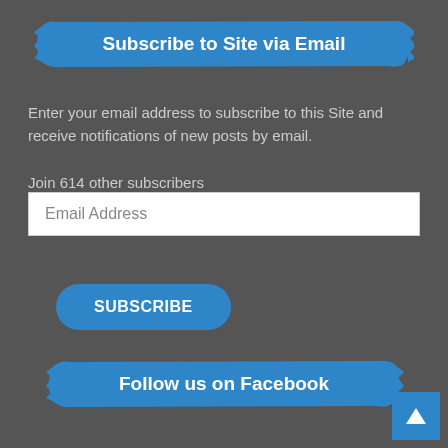Subscribe to Site via Email
Enter your email address to subscribe to this Site and receive notifications of new posts by email.
Join 614 other subscribers
Email Address
SUBSCRIBE
Follow us on Facebook